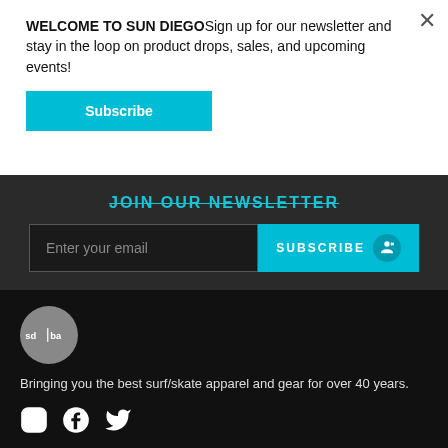WELCOME TO SUN DIEGOSign up for our newsletter and stay in the loop on product drops, sales, and upcoming events!
Subscribe
JOIN OUR NEWSLETTER
Enter your email
SUBSCRIBE
[Figure (logo): sd|ba circular logo in gray]
Bringing you the best surf/skate apparel and gear for over 40 years.
[Figure (illustration): Instagram, Facebook, and Twitter social media icons in white]